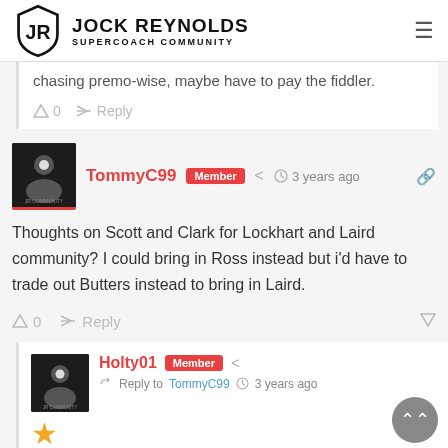Jock Reynolds Supercoach Community
chasing premo-wise, maybe have to pay the fiddler.
0   Reply
TommyC99  Member  3 years ago
Thoughts on Scott and Clark for Lockhart and Laird community? I could bring in Ross instead but i'd have to trade out Butters instead to bring in Laird.
0   Reply
Holty01  Member
Reply to TommyC99  3 years ago